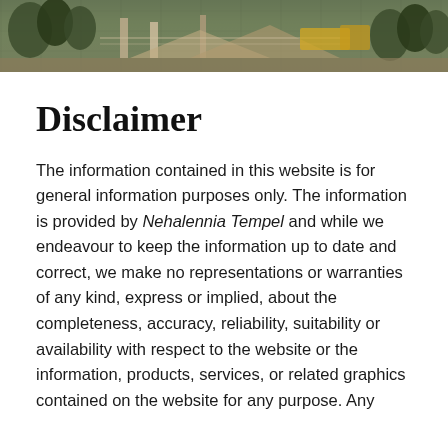[Figure (photo): Photograph banner at top of page showing an outdoor scene with structures, ramps or steps, and trees in a grey-green tone]
Disclaimer
The information contained in this website is for general information purposes only. The information is provided by Nehalennia Tempel and while we endeavour to keep the information up to date and correct, we make no representations or warranties of any kind, express or implied, about the completeness, accuracy, reliability, suitability or availability with respect to the website or the information, products, services, or related graphics contained on the website for any purpose. Any